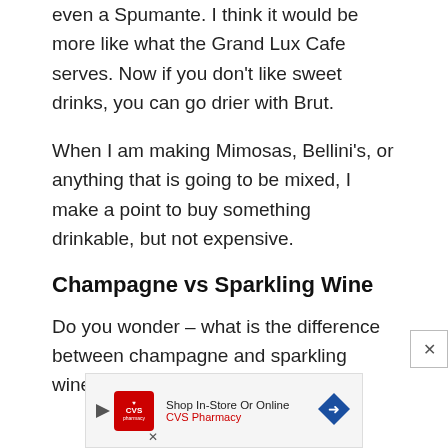even a Spumante. I think it would be more like what the Grand Lux Cafe serves. Now if you don’t like sweet drinks, you can go drier with Brut.
When I am making Mimosas, Bellini’s, or anything that is going to be mixed, I make a point to buy something drinkable, but not expensive.
Champagne vs Sparkling Wine
Do you wonder – what is the difference between champagne and sparkling wine?
[Figure (other): CVS Pharmacy advertisement banner: Shop In-Store Or Online, CVS Pharmacy logo and navigation arrow icon]